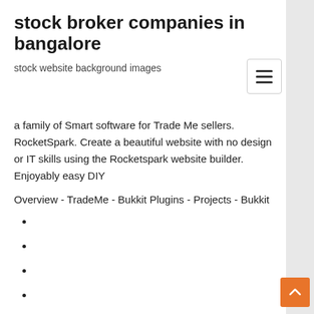stock broker companies in bangalore
stock website background images
a family of Smart software for Trade Me sellers. RocketSpark. Create a beautiful website with no design or IT skills using the Rocketspark website builder. Enjoyably easy DIY
Overview - TradeMe - Bukkit Plugins - Projects - Bukkit